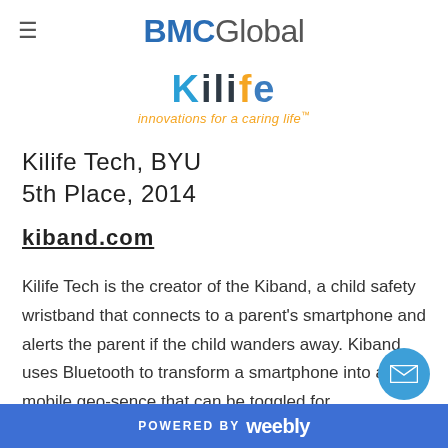BMCGlobal
[Figure (logo): KiLife logo with text 'innovations for a caring life']
Kilife Tech, BYU
5th Place, 2014
kiband.com
Kilife Tech is the creator of the Kiband, a child safety wristband that connects to a parent's smartphone and alerts the parent if the child wanders away. Kiband uses Bluetooth to transform a smartphone into a mobile geo-sence that can be toggled for
POWERED BY weebly